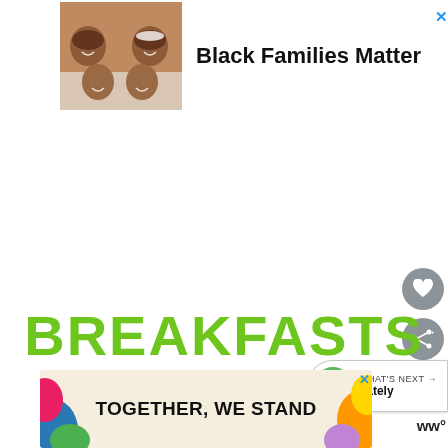[Figure (photo): Photo of a Black family of four smiling, viewed from above, lying on a white surface]
Black Families Matter
[Figure (illustration): Heart icon button (favorite/like) — gray circular button with white heart]
[Figure (illustration): Share icon button — gray circular button with share/network icon]
[Figure (illustration): What's Next widget with KF green logo, label WHAT'S NEXT and text Lately]
BREAKFASTS
[Figure (illustration): Ad banner: colorful decorative shapes on sides with text TOGETHER, WE STAND in bold black]
[Figure (logo): ww logo (WW health/wellness brand) in dark text, bottom right]